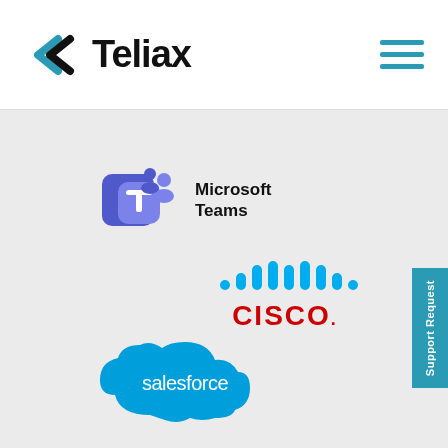[Figure (logo): Teliax logo with angular double-arrow icon and bold wordmark 'Teliax']
[Figure (logo): Hamburger menu icon with three teal horizontal lines]
[Figure (logo): Microsoft Teams logo with purple T icon and figures, with text 'Microsoft Teams']
[Figure (logo): Cisco logo with vertical bar chart icon and 'CISCO.' text in red]
[Figure (logo): Salesforce logo as blue cloud shape with 'salesforce' text]
Support Request